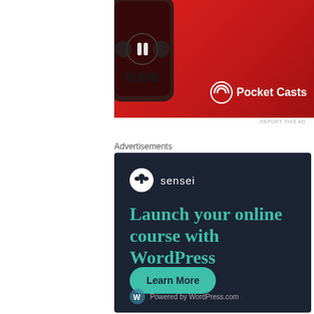[Figure (advertisement): Pocket Casts app advertisement on red background showing a smartphone with podcast player controls and the Pocket Casts logo with text 'Pocket Casts']
REPORT THIS AD
Advertisements
[Figure (advertisement): Sensei advertisement with dark navy background. Shows sensei logo (tree icon in white circle) with text 'sensei'. Large teal text reads 'Launch your online course with WordPress'. Teal pill-shaped button with text 'Learn More'. Footer shows WordPress logo with text 'Powered by WordPress.com']